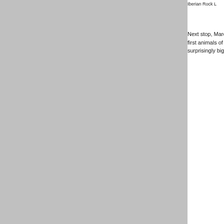[Figure (photo): Gray sidebar image occupying the left portion of the page]
Iberian Rock L
Next stop, Marea Valley. First a stone quarry... first animals of the subspecies Salamandra ... surprisingly big effort finally a first Seoane's